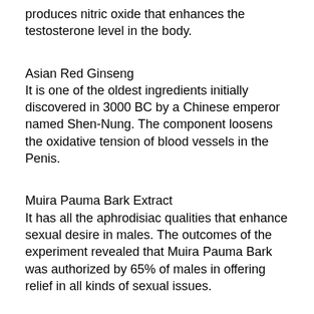produces nitric oxide that enhances the testosterone level in the body.
Asian Red Ginseng
It is one of the oldest ingredients initially discovered in 3000 BC by a Chinese emperor named Shen-Nung. The component loosens the oxidative tension of blood vessels in the Penis.
Muira Pauma Bark Extract
It has all the aphrodisiac qualities that enhance sexual desire in males. The outcomes of the experiment revealed that Muira Pauma Bark was authorized by 65% of males in offering relief in all kinds of sexual issues.